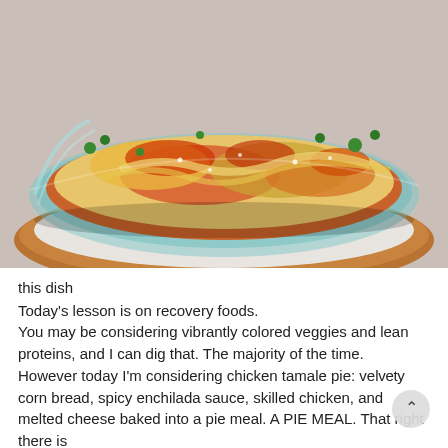[Figure (photo): Close-up photo of a chicken tamale pie in a glass pie dish, showing shredded chicken, melted cheese, enchilada sauce, and garnished with green herbs, sitting on a wooden surface with a white cloth underneath.]
this dish
Today's lesson is on recovery foods.
You may be considering vibrantly colored veggies and lean proteins, and I can dig that. The majority of the time.
However today I'm considering chicken tamale pie: velvety corn bread, spicy enchilada sauce, skilled chicken, and melted cheese baked into a pie meal. A PIE MEAL. That right there is